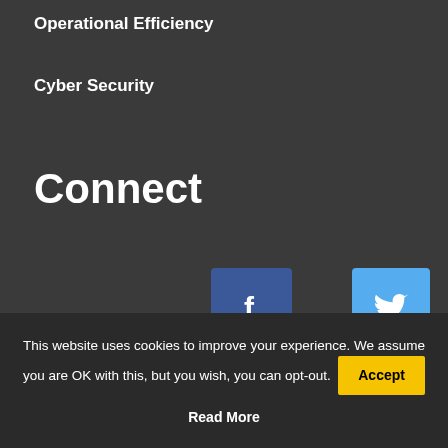Operational Efficiency
Cyber Security
Connect
[Figure (infographic): Four social media icons arranged in a 2x2 grid: Facebook (blue), Twitter (light blue), YouTube (red), LinkedIn (dark blue)]
This website uses cookies to improve your experience. We assume you are OK with this, but you wish, you can opt-out. Accept Read More